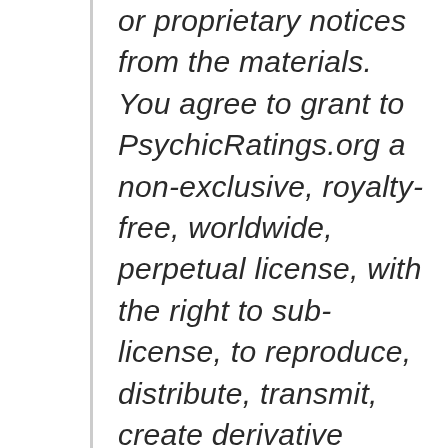or proprietary notices from the materials. You agree to grant to PsychicRatings.org a non-exclusive, royalty-free, worldwide, perpetual license, with the right to sub-license, to reproduce, distribute, transmit, create derivative works of, publicly display and publicly perform any materials and other information (including, without limitation, ideas contained therein for new or improved products and services) you